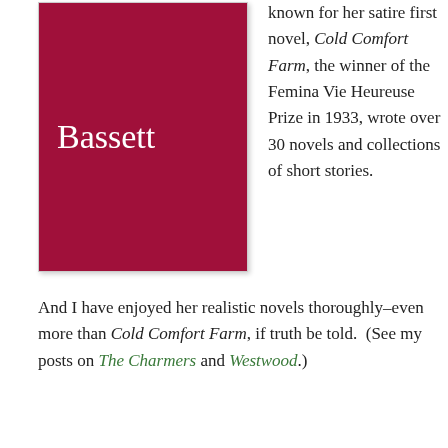[Figure (illustration): Book cover with dark red/crimson background displaying the author name 'Bassett' in white serif font]
known for her satire first novel, Cold Comfort Farm, the winner of the Femina Vie Heureuse Prize in 1933, wrote over 30 novels and collections of short stories.
And I have enjoyed her realistic novels thoroughly–even more than Cold Comfort Farm, if truth be told.  (See my posts on The Charmers and Westwood.)